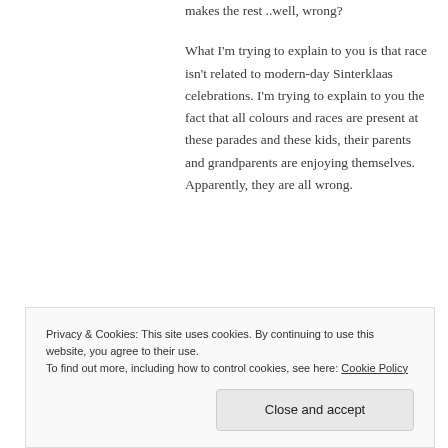makes the rest ..well, wrong?
What I'm trying to explain to you is that race isn't related to modern-day Sinterklaas celebrations. I'm trying to explain to you the fact that all colours and races are present at these parades and these kids, their parents and grandparents are enjoying themselves. Apparently, they are all wrong.
I'm not trying to ignore there's four...
Privacy & Cookies: This site uses cookies. By continuing to use this website, you agree to their use.
To find out more, including how to control cookies, see here: Cookie Policy